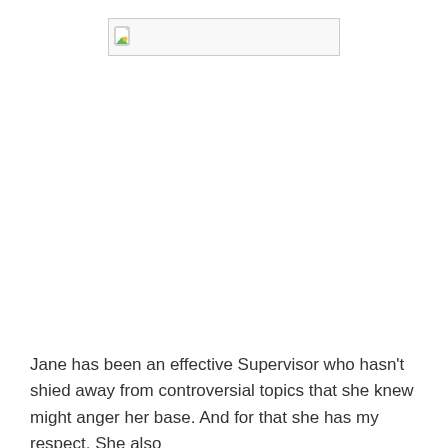[Figure (other): Broken/missing image placeholder with a small broken image icon on the left and a wide empty white rectangle with a border]
Jane has been an effective Supervisor who hasn't shied away from controversial topics that she knew might anger her base. And for that she has my respect. She also